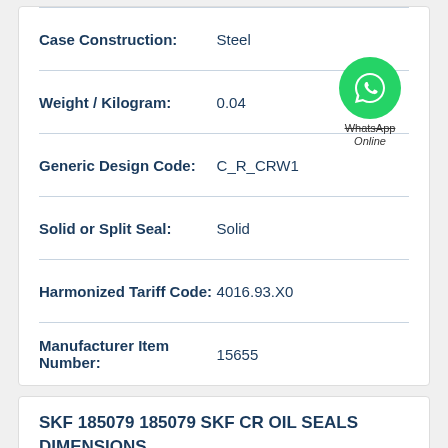| Property | Value |
| --- | --- |
| Case Construction: | Steel |
| Weight / Kilogram: | 0.04 |
| Generic Design Code: | C_R_CRW1 |
| Solid or Split Seal: | Solid |
| Harmonized Tariff Code: | 4016.93.X0 |
| Manufacturer Item Number: | 15655 |
SKF 185079 185079 SKF CR OIL SEALS DIMENSIONS
Chat now